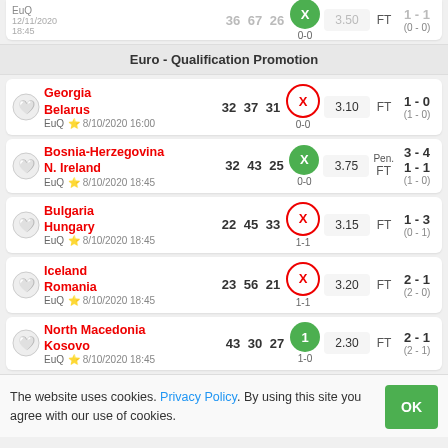| Team | Stat1 | Stat2 | Stat3 | X | Odds | Status | Score |
| --- | --- | --- | --- | --- | --- | --- | --- |
| Scotland (partial) |  |  |  |  | 3.50 | FT | 1-1 (0-0) |
| Georgia / Belarus | 32 | 37 | 31 | X | 3.10 | FT | 1-0 (1-0) |
| Bosnia-Herzegovina / N. Ireland | 32 | 43 | 25 | X | 3.75 | Pen. FT | 3-4 / 1-1 (1-0) |
| Bulgaria / Hungary | 22 | 45 | 33 | X | 3.15 | FT | 1-3 (0-1) |
| Iceland / Romania | 23 | 56 | 21 | X | 3.20 | FT | 2-1 (2-0) |
| North Macedonia / Kosovo | 43 | 30 | 27 | 1 | 2.30 | FT | 2-1 (2-1) |
The website uses cookies. Privacy Policy. By using this site you agree with our use of cookies.